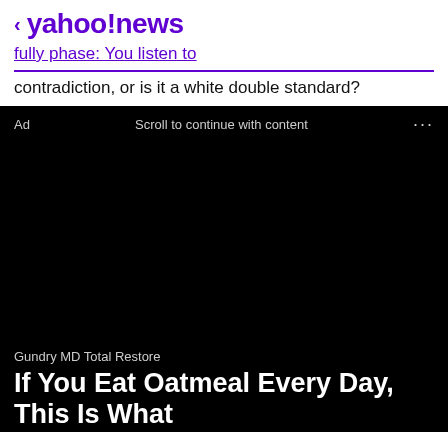< yahoo!news
contradiction, or is it a white double standard?
Ad   Scroll to continue with content   ...
[Figure (other): Black rectangle advertisement area]
Gundry MD Total Restore
If You Eat Oatmeal Every Day, This Is What